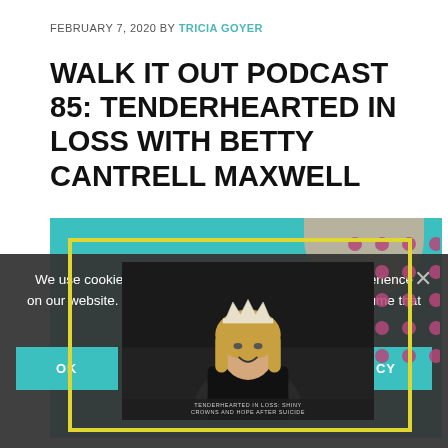FEBRUARY 7, 2020 BY TRICIA GOYER
WALK IT OUT PODCAST 85: TENDERHEARTED IN LOSS WITH BETTY CANTRELL MAXWELL
[Figure (photo): Podcast cover image showing a woman wearing a crown/tiara, with teal background, yellow frame border, beige shape and pink dots decoration in upper right. Text at bottom reads: TENDERHEARTED IN LOSS: SHINY CROWNS AND HOPE AFTER SUICIDE]
We use cookies to ensure that we give you the best experience on our website. If you continue to use this site we will assume that you are happy with it.
OK
NO
PRIVACY POLICY